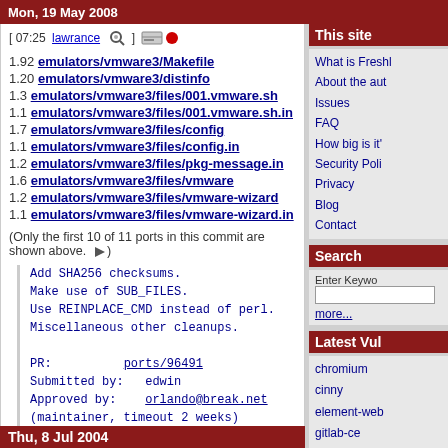Mon, 19 May 2008
[ 07:25 lawrance ] (icons)
1.92 emulators/vmware3/Makefile
1.20 emulators/vmware3/distinfo
1.3 emulators/vmware3/files/001.vmware.sh
1.1 emulators/vmware3/files/001.vmware.sh.in
1.7 emulators/vmware3/files/config
1.1 emulators/vmware3/files/config.in
1.2 emulators/vmware3/files/pkg-message.in
1.6 emulators/vmware3/files/vmware
1.2 emulators/vmware3/files/vmware-wizard
1.1 emulators/vmware3/files/vmware-wizard.in
(Only the first 10 of 11 ports in this commit are shown above. ►)
Add SHA256 checksums.
Make use of SUB_FILES.
Use REINPLACE_CMD instead of perl.
Miscellaneous other cleanups.

PR:          ports/96491
Submitted by:   edwin
Approved by:    orlando@break.net
(maintainer, timeout 2 weeks)
Thu, 8 Jul 2004
This site
What is Freshl
About the aut
Issues
FAQ
How big is it'
Security Poli
Privacy
Blog
Contact
Search
Enter Keywo
more...
Latest Vul
chromium
cinny
element-web
gitlab-ce